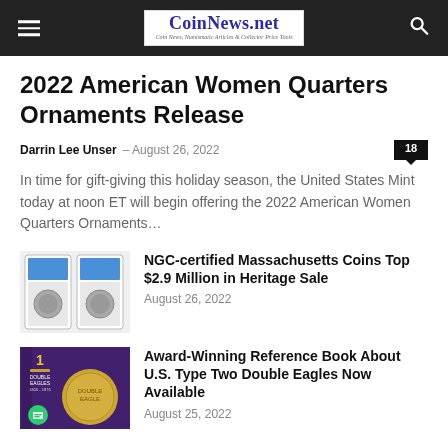CoinNews.net — Coin News, Numismatic Articles & Collector Price Tools
2022 American Women Quarters Ornaments Release
Darrin Lee Unser · August 26, 2022 · 18 comments
In time for gift-giving this holiday season, the United States Mint today at noon ET will begin offering the 2022 American Women Quarters Ornaments...
[Figure (photo): Two NGC-certified coin slabs side by side showing Massachusetts silver coins]
NGC-certified Massachusetts Coins Top $2.9 Million in Heritage Sale
August 26, 2022
[Figure (photo): Purple book cover titled 1 Double Eagles 1850-1876 with gold coin]
Award-Winning Reference Book About U.S. Type Two Double Eagles Now Available
August 25, 2022